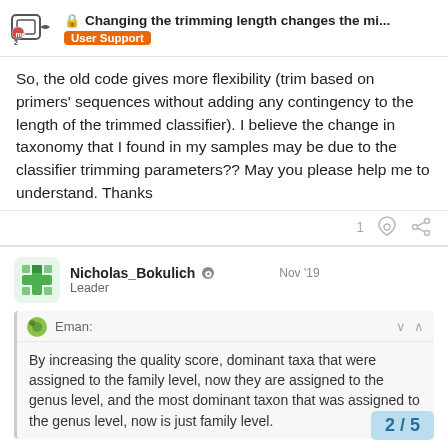🔒 Changing the trimming length changes the mi... | User Support
So, the old code gives more flexibility (trim based on primers' sequences without adding any contingency to the length of the trimmed classifier). I believe the change in taxonomy that I found in my samples may be due to the classifier trimming parameters?? May you please help me to understand. Thanks
Nicholas_Bokulich ✪ Leader Nov '19
Eman: By increasing the quality score, dominant taxa that were assigned to the family level, now they are assigned to the genus level, and the most dominant taxon that was assigned to the genus level, now is just family level.
2 / 5